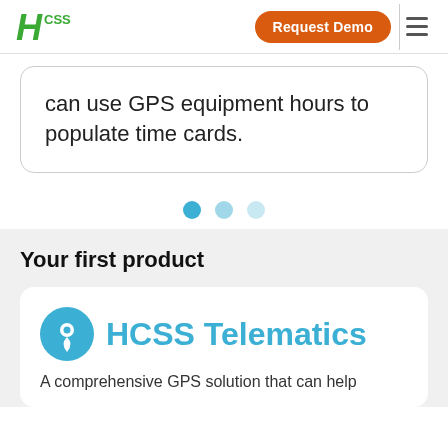HCSS | Request Demo
can use GPS equipment hours to populate time cards.
[Figure (other): Carousel pagination dots: three circles, the first filled dark teal, the second lighter teal, the third lightest teal]
Your first product
[Figure (logo): HCSS Telematics product logo: a teal circle with a location pin icon, followed by the text HCSS Telematics in teal]
A comprehensive GPS solution that can help